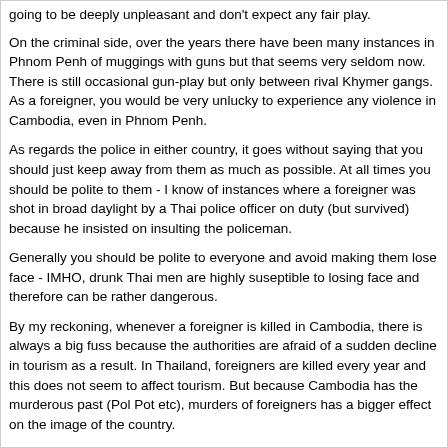going to be deeply unpleasant and don't expect any fair play.
On the criminal side, over the years there have been many instances in Phnom Penh of muggings with guns but that seems very seldom now. There is still occasional gun-play but only between rival Khymer gangs. As a foreigner, you would be very unlucky to experience any violence in Cambodia, even in Phnom Penh.
As regards the police in either country, it goes without saying that you should just keep away from them as much as possible. At all times you should be polite to them - I know of instances where a foreigner was shot in broad daylight by a Thai police officer on duty (but survived) because he insisted on insulting the policeman.
Generally you should be polite to everyone and avoid making them lose face - IMHO, drunk Thai men are highly suseptible to losing face and therefore can be rather dangerous.
By my reckoning, whenever a foreigner is killed in Cambodia, there is always a big fuss because the authorities are afraid of a sudden decline in tourism as a result. In Thailand, foreigners are killed every year and this does not seem to affect tourism. But because Cambodia has the murderous past (Pol Pot etc), murders of foreigners has a bigger effect on the image of the country.
It is impossible to know how many deaths of foreigners in either country have really been disguised murders. My own experience tells me that there is a lot more talk in Thailand among Thais and foreigners about such issues (who is on a hit list, which recent death was a disgused killing etc) than in Cambodia. Of course, this could be that the Cambodians just don't talk about it (which I would find rather strange as they talk about everything else) and/or the foreigners in Cambodia are kept in the dark about such matters.
What this boils down to is if you are polite, avoid breaking local laws and steer clear of crazy barang (they can bring you real trouble!), you are likely to have less trouble than you would have in any large Western city and you get to have sex with exotic women and you can do it for a fraction of what it cost in your home country.